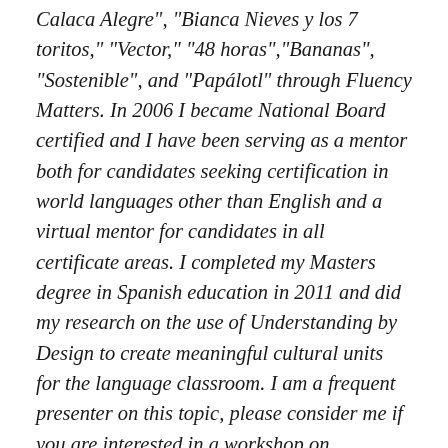Calaca Alegre", "Bianca Nieves y los 7 toritos," "Vector," "48 horas","Bananas", "Sostenible", and "Papálotl" through Fluency Matters. In 2006 I became National Board certified and I have been serving as a mentor both for candidates seeking certification in world languages other than English and a virtual mentor for candidates in all certificate areas. I completed my Masters degree in Spanish education in 2011 and did my research on the use of Understanding by Design to create meaningful cultural units for the language classroom. I am a frequent presenter on this topic, please consider me if you are interested in a workshop on backward design. In 2013 I was named the ICTFL Foreign Language teacher of the year and in 2014 I was selected as CSCTFL's teacher of the year. In November of 2014 I was also named one of the five finalists...